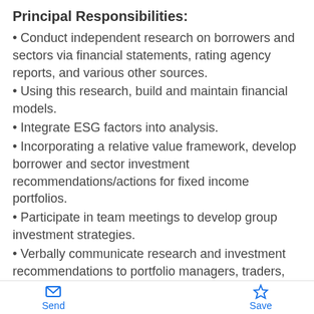Principal Responsibilities:
Conduct independent research on borrowers and sectors via financial statements, rating agency reports, and various other sources.
Using this research, build and maintain financial models.
Integrate ESG factors into analysis.
Incorporating a relative value framework, develop borrower and sector investment recommendations/actions for fixed income portfolios.
Participate in team meetings to develop group investment strategies.
Verbally communicate research and investment recommendations to portfolio managers, traders, and other analysts.
Write investment reports synthesizing research for
Send  Save